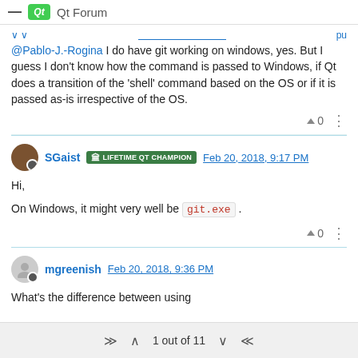Qt Forum
@Pablo-J.-Rogina I do have git working on windows, yes. But I guess I don't know how the command is passed to Windows, if Qt does a transition of the 'shell' command based on the OS or if it is passed as-is irrespective of the OS.
SGaist LIFETIME QT CHAMPION Feb 20, 2018, 9:17 PM
Hi,

On Windows, it might very well be git.exe .
mgreenish Feb 20, 2018, 9:36 PM
What's the difference between using
1 out of 11